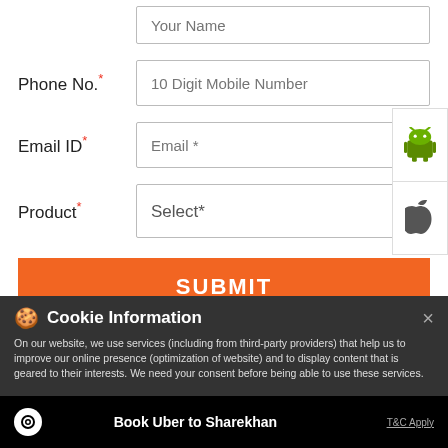[Figure (screenshot): Web form with fields: Your Name (partially visible), Phone No. (10 Digit Mobile Number), Email ID (Email *), Product (Select* dropdown), and a SUBMIT button in orange. Android and Apple app icons on the right side.]
Cookie Information
On our website, we use services (including from third-party providers) that help us to improve our online presence (optimization of website) and to display content that is geared to their interests. We need your consent before being able to use these services.
Book Uber to Sharekhan   T&C Apply